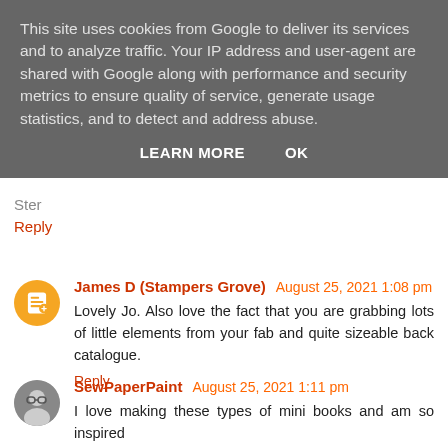This site uses cookies from Google to deliver its services and to analyze traffic. Your IP address and user-agent are shared with Google along with performance and security metrics to ensure quality of service, generate usage statistics, and to detect and address abuse.
LEARN MORE    OK
Ster
Reply
James D (Stampers Grove)  August 25, 2021 1:08 pm
Lovely Jo. Also love the fact that you are grabbing lots of little elements from your fab and quite sizeable back catalogue.
Reply
SewPaperPaint  August 25, 2021 1:11 pm
I love making these types of mini books and am so inspired